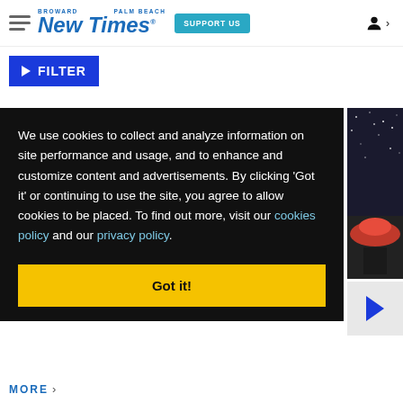Broward Palm Beach New Times | SUPPORT US
▶ FILTER
We use cookies to collect and analyze information on site performance and usage, and to enhance and customize content and advertisements. By clicking 'Got it' or continuing to use the site, you agree to allow cookies to be placed. To find out more, visit our cookies policy and our privacy policy.
Got it!
MORE